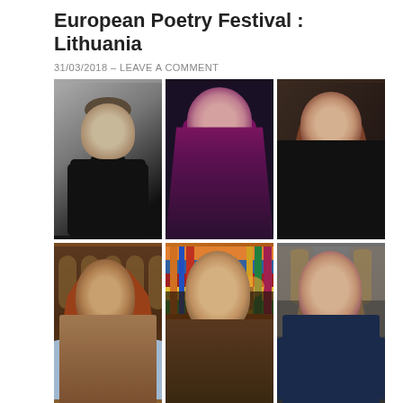European Poetry Festival : Lithuania
31/03/2018  –  LEAVE A COMMENT
[Figure (photo): Grid of six portrait photographs of poets: top row left to right: man in black turtleneck against grey background, woman with long purple/magenta hair and purple lipstick against dark background, woman with reddish-brown hair seated at dark table against dark background; bottom row left to right: man with red beard wearing glasses in gothic church interior, older man with glasses resting chin on hand against colorful bookshelf background, young smiling man seated against stone church exterior.]